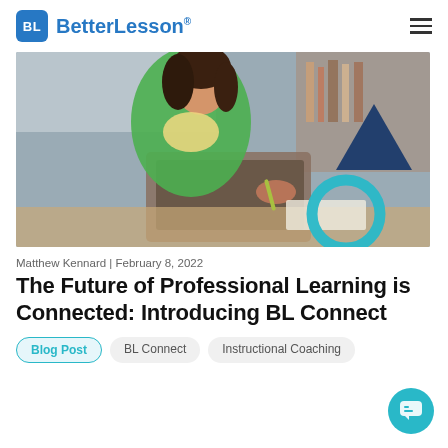BL BetterLesson
[Figure (photo): Woman in green sweater sitting at a desk with a laptop, writing in a notebook, in a classroom setting. BetterLesson branded decorative shapes overlaid (teal circle, dark blue triangle).]
Matthew Kennard | February 8, 2022
The Future of Professional Learning is Connected: Introducing BL Connect
Blog Post
BL Connect
Instructional Coaching